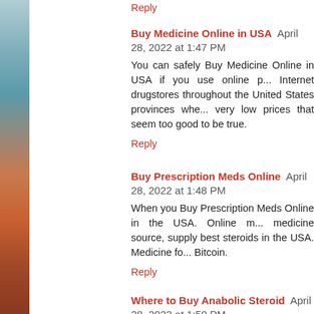Reply
Buy Medicine Online in USA  April 28, 2022 at 1:47 PM
You can safely Buy Medicine Online in USA if you use online p... Internet drugstores throughout the United States provinces whe... very low prices that seem too good to be true.
Reply
Buy Prescription Meds Online  April 28, 2022 at 1:48 PM
When you Buy Prescription Meds Online in the USA. Online m... medicine source, supply best steroids in the USA. Medicine fo... Bitcoin.
Reply
Where to Buy Anabolic Steroid  April 28, 2022 at 1:50 PM
If you are looking for Where to Buy Anabolic Steroid, you have... deliver legit steroids online in the USA. When it comes to perfo... improving our Health.
Reply